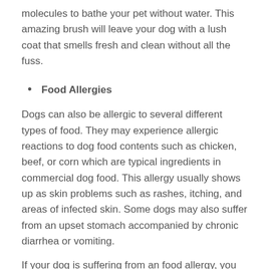molecules to bathe your pet without water. This amazing brush will leave your dog with a lush coat that smells fresh and clean without all the fuss.
Food Allergies
Dogs can also be allergic to several different types of food. They may experience allergic reactions to dog food contents such as chicken, beef, or corn which are typical ingredients in commercial dog food. This allergy usually shows up as skin problems such as rashes, itching, and areas of infected skin. Some dogs may also suffer from an upset stomach accompanied by chronic diarrhea or vomiting.
If your dog is suffering from an food allergy, you should try eliminating certain foods from his diet. Contact your vet and ask if there is a special food they would recommend for your dog to aid in overcoming his allergy. A visit to your vet is necessary if your dog shows any to the allergy symptoms of a food